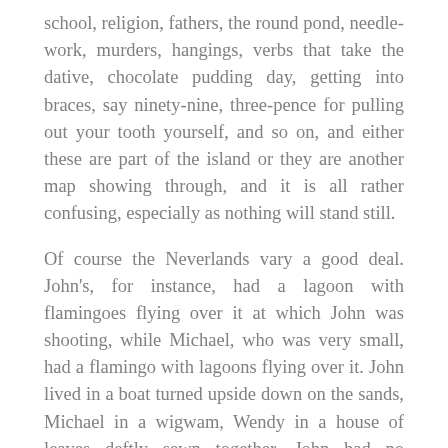school, religion, fathers, the round pond, needle-work, murders, hangings, verbs that take the dative, chocolate pudding day, getting into braces, say ninety-nine, three-pence for pulling out your tooth yourself, and so on, and either these are part of the island or they are another map showing through, and it is all rather confusing, especially as nothing will stand still.
Of course the Neverlands vary a good deal. John's, for instance, had a lagoon with flamingoes flying over it at which John was shooting, while Michael, who was very small, had a flamingo with lagoons flying over it. John lived in a boat turned upside down on the sands, Michael in a wigwam, Wendy in a house of leaves deftly sewn together. John had no friends, Michael had friends at night, Wendy had a pet wolf forsaken by its parents, but on the whole the Neverlands have a family resemblance, and if they stood still in a row you could say of them that they have each other's nose,